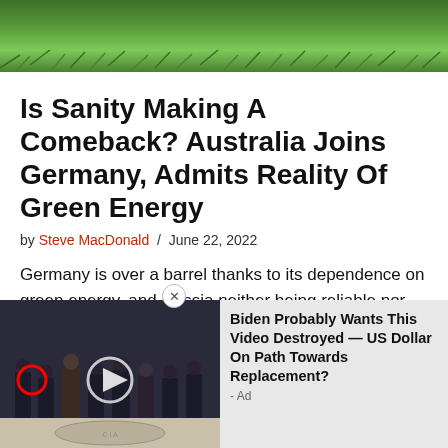[Figure (photo): Close-up photo of green grass at the top of the page]
Is Sanity Making A Comeback? Australia Joins Germany, Admits Reality Of Green Energy
by Steve MacDonald / June 22, 2022
Germany is over a barrel thanks to its dependence on green energy, and Russia neither being reliable nor capable of delivering without consequence. So, they've had to commit to burning more coal. Australia, another fool on a green hill covered with wind turbines, has announced they too need fossil fu[els]
[Figure (screenshot): Advertisement overlay showing a video thumbnail of people standing in formal attire with a CIA floor seal, and text 'Biden Probably Wants This Video Destroyed — US Dollar On Path Towards Replacement? - Ad']